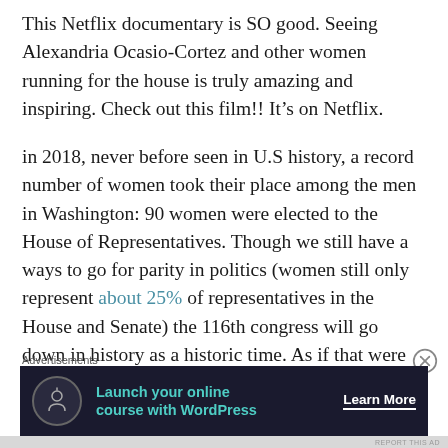This Netflix documentary is SO good. Seeing Alexandria Ocasio-Cortez and other women running for the house is truly amazing and inspiring. Check out this film!! It’s on Netflix.
in 2018, never before seen in U.S history, a record number of women took their place among the men in Washington: 90 women were elected to the House of Representatives. Though we still have a ways to go for parity in politics (women still only represent about 25% of representatives in the House and Senate) the 116th congress will go down in history as a historic time. As if that were not enough, these
[Figure (other): Close button (X in circle) UI element]
Advertisements
[Figure (other): Advertisement banner: dark background with tree/person icon, text 'Launch your online course with WordPress', and 'Learn More' button]